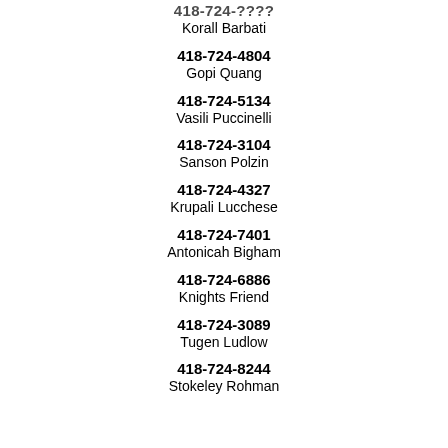418-724-????
Korall Barbati
418-724-4804
Gopi Quang
418-724-5134
Vasili Puccinelli
418-724-3104
Sanson Polzin
418-724-4327
Krupali Lucchese
418-724-7401
Antonicah Bigham
418-724-6886
Knights Friend
418-724-3089
Tugen Ludlow
418-724-8244
Stokeley Rohman